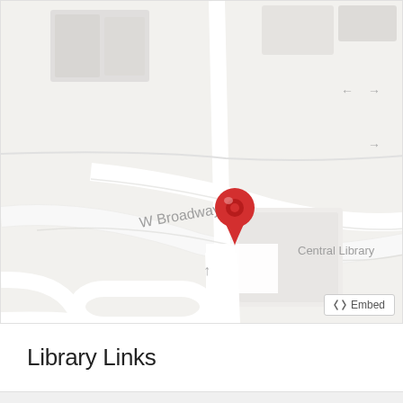[Figure (map): Google Maps screenshot showing W Broadway street with a red location pin marker near the intersection. Central Library label with a book icon is visible in the lower right area of the map.]
Embed
Library Links